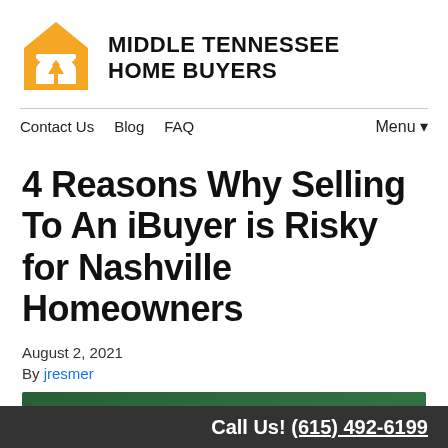[Figure (logo): Middle Tennessee Home Buyers logo — orange house icon with letter M cutout and bold black text MIDDLE TENNESSEE HOME BUYERS]
Contact Us  Blog  FAQ  Menu ▾
4 Reasons Why Selling To An iBuyer is Risky for Nashville Homeowners
August 2, 2021
By jresmer
[Figure (photo): Close-up photo of two pairs of hands resting on a green casino/poker table with poker chips]
Call Us! (615) 492-6199